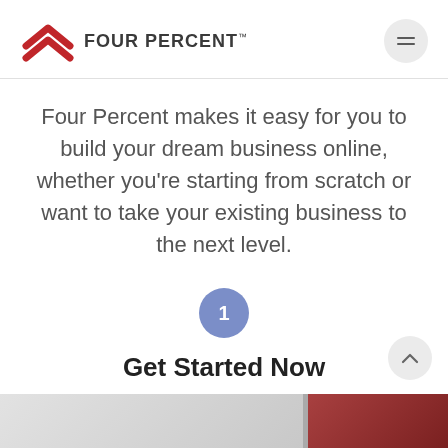FOUR PERCENT™
Four Percent makes it easy for you to build your dream business online, whether you're starting from scratch or want to take your existing business to the next level.
1
Get Started Now